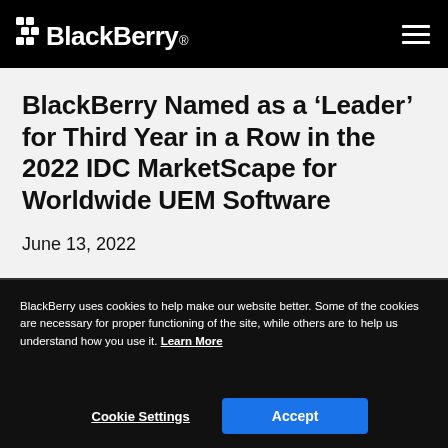BlackBerry
BlackBerry Named as a ‘Leader’ for Third Year in a Row in the 2022 IDC MarketScape for Worldwide UEM Software
June 13, 2022
BlackBerry UEM recognized for protection, security and productivity
BlackBerry uses cookies to help make our website better. Some of the cookies are necessary for proper functioning of the site, while others are to help us understand how you use it. Learn More
Cookie Settings
Accept